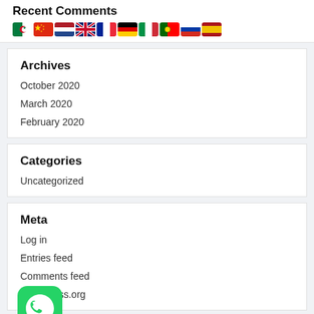Recent Comments
[Figure (illustration): Row of country flag icons: Algeria/Arabic, China, Netherlands, UK, France, Germany, Italy, Portugal, Russia, Spain]
Archives
October 2020
March 2020
February 2020
Categories
Uncategorized
Meta
Log in
Entries feed
Comments feed
WordPress.org
[Figure (logo): WhatsApp icon - green rounded square with white phone/chat logo]
About Us